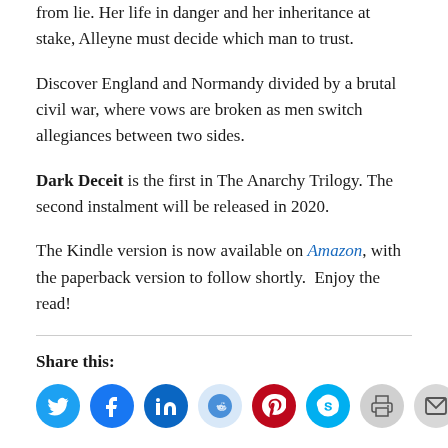But loyalties change, and she is no longer able to tell truth from lie. Her life in danger and her inheritance at stake, Alleyne must decide which man to trust.
Discover England and Normandy divided by a brutal civil war, where vows are broken as men switch allegiances between two sides.
Dark Deceit is the first in The Anarchy Trilogy. The second instalment will be released in 2020.
The Kindle version is now available on Amazon, with the paperback version to follow shortly.  Enjoy the read!
Share this:
[Figure (other): Row of social sharing icon buttons: Twitter, Facebook, LinkedIn, Reddit, Pinterest, Skype, Print, Email]